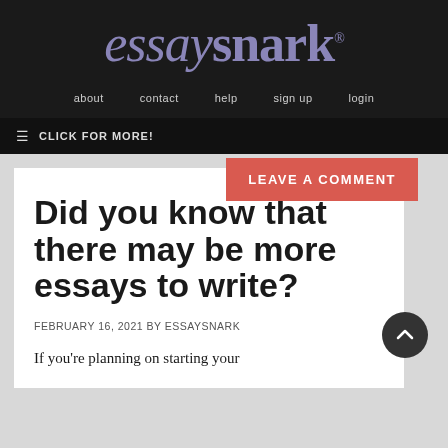[Figure (logo): EssaySnark logo in purple/lavender italic serif font on dark background]
about   contact   help   sign up   login
≡ CLICK FOR MORE!
LEAVE A COMMENT
Did you know that there may be more essays to write?
FEBRUARY 16, 2021 BY ESSAYSNARK
If you're planning on starting your